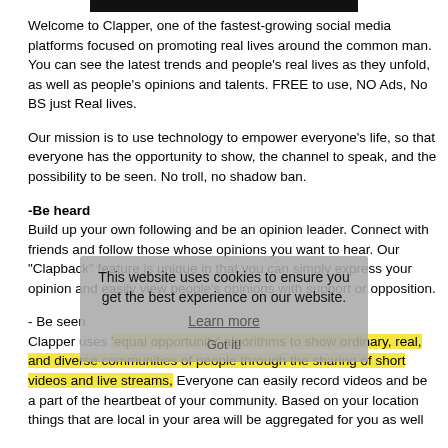[Figure (other): Black horizontal bar at top of page]
Welcome to Clapper, one of the fastest-growing social media platforms focused on promoting real lives around the common man. You can see the latest trends and people's real lives as they unfold, as well as people's opinions and talents. FREE to use, NO Ads, No BS just Real lives.
Our mission is to use technology to empower everyone's life, so that everyone has the opportunity to show, the channel to speak, and the possibility to be seen. No troll, no shadow ban.
-Be heard
Build up your own following and be an opinion leader. Connect with friends and follow those whose opinions you want to hear. Our “Clapback” feature is unique in that you can simply express your opinion and easily view people's opinions with support or opposition.
- Be seen
Clapper uses ‘equal opportunity’ algorithms to show ordinary, real, and diverse communities of people through the sharing of short videos and live streams, Everyone can easily record videos and be a part of the heartbeat of your community. Based on your location things that are local in your area will be aggregated for you as well
This website uses cookies to ensure you get the best experience on our website. Learn more Got it!